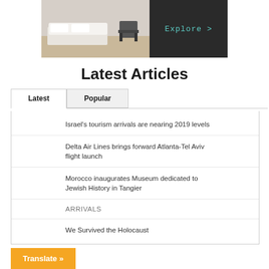[Figure (photo): Hotel room image on the left with bed and chair visible, and a dark panel on the right with 'Explore >' text in teal color]
Latest Articles
Latest | Popular
Israel's tourism arrivals are nearing 2019 levels
Delta Air Lines brings forward Atlanta-Tel Aviv flight launch
Morocco inaugurates Museum dedicated to Jewish History in Tangier
ARRIVALS
We Survived the Holocaust
Translate »